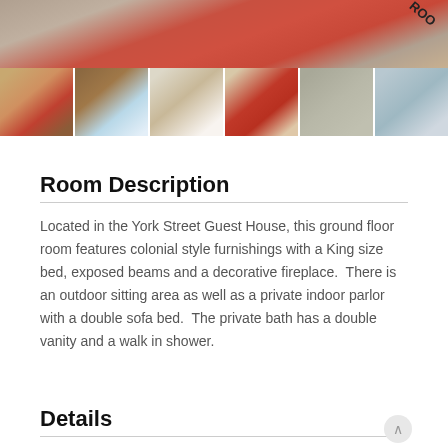[Figure (photo): Main room photo showing red patterned rug and stone/wood interior with a 'ROO' banner visible]
[Figure (photo): Row of 6 thumbnail photos showing bedroom with colonial furnishings, bed with blue coverlet, hallway/closet, sitting area with sofa on red rug, walk-in shower, and bathroom vanity]
Room Description
Located in the York Street Guest House, this ground floor room features colonial style furnishings with a King size bed, exposed beams and a decorative fireplace.  There is an outdoor sitting area as well as a private indoor parlor with a double sofa bed.  The private bath has a double vanity and a walk in shower.
Details
Location: York Street Guest House